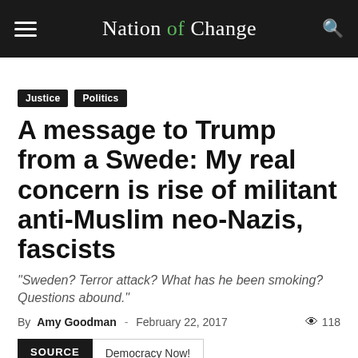Nation of Change
Justice
Politics
A message to Trump from a Swede: My real concern is rise of militant anti-Muslim neo-Nazis, fascists
“Sweden? Terror attack? What has he been smoking? Questions abound.”
By Amy Goodman - February 22, 2017  118 views
SOURCE  Democracy Now!